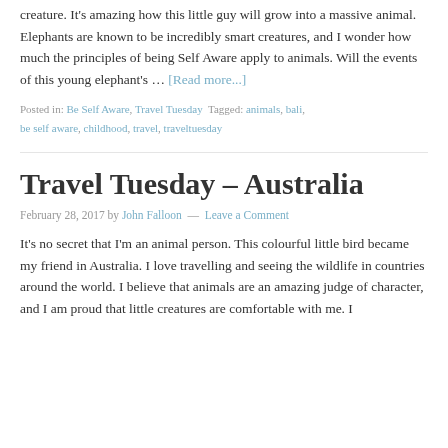creature. It's amazing how this little guy will grow into a massive animal. Elephants are known to be incredibly smart creatures, and I wonder how much the principles of being Self Aware apply to animals. Will the events of this young elephant's … [Read more...]
Posted in: Be Self Aware, Travel Tuesday Tagged: animals, bali, be self aware, childhood, travel, traveltuesday
Travel Tuesday – Australia
February 28, 2017 by John Falloon — Leave a Comment
It's no secret that I'm an animal person. This colourful little bird became my friend in Australia. I love travelling and seeing the wildlife in countries around the world. I believe that animals are an amazing judge of character, and I am proud that little creatures are comfortable with me. I